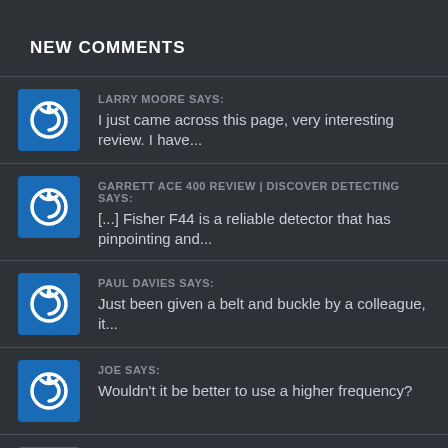NEW COMMENTS
LARRY MOORE SAYS:
I just came across this page, very interesting review. I have...
GARRETT ACE 400 REVIEW | DISCOVER DETECTING SAYS:
[...] Fisher F44 is a reliable detector that has pinpointing and...
PAUL DAVIES SAYS:
Just been given a belt and buckle by a colleague, it...
JOE SAYS:
Wouldn't it be better to use a higher frequency?
ALAN SAYS:
What setting would you recommend I use coins most if the...